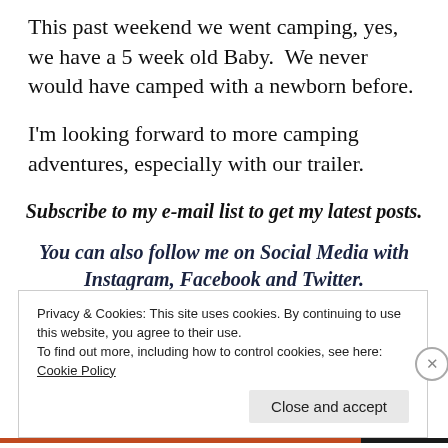This past weekend we went camping, yes, we have a 5 week old Baby.  We never would have camped with a newborn before.
I'm looking forward to more camping adventures, especially with our trailer.
Subscribe to my e-mail list to get my latest posts.
You can also follow me on Social Media with Instagram, Facebook and Twitter.
Privacy & Cookies: This site uses cookies. By continuing to use this website, you agree to their use.
To find out more, including how to control cookies, see here:
Cookie Policy
Close and accept